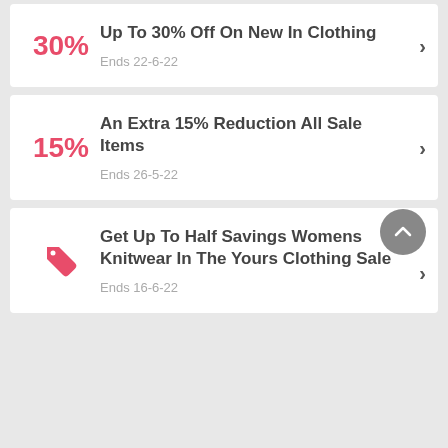30% — Up To 30% Off On New In Clothing — Ends 22-6-22
15% — An Extra 15% Reduction All Sale Items — Ends 26-5-22
Tag icon — Get Up To Half Savings Womens Knitwear In The Yours Clothing Sale — Ends 16-6-22